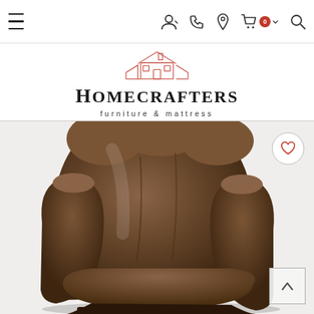Navigation bar with hamburger menu, user icon, phone icon, location icon, cart (0), and search icon
[Figure (logo): Homecrafters Furniture & Mattress logo with house outline in red above the text]
[Figure (photo): Brown leather recliner chair product photo on white/light background]